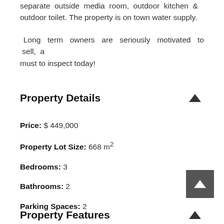separate outside media room, outdoor kitchen & outdoor toilet. The property is on town water supply.
Long term owners are seriously motivated to sell, a must to inspect today!
Property Details
Price: $ 449,000
Property Lot Size: 668 m²
Bedrooms: 3
Bathrooms: 2
Parking Spaces: 2
Property Features